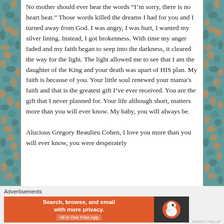No mother should ever hear the words “I’m sorry, there is no heart beat.” Those words killed the dreams I had for you and I turned away from God. I was angry, I was hurt, I wanted my silver lining. Instead, I got brokenness. With time my anger faded and my faith began to seep into the darkness, it cleared the way for the light. The light allowed me to see that I am the daughter of the King and your death was apart of HIS plan. My faith is because of you. Your little soul renewed your mama’s faith and that is the greatest gift I’ve ever received. You are the gift that I never planned for. Your life although short, matters more than you will ever know. My baby, you will always be.

Alucious Gregory Beaulieu Cohen, I love you more than you will ever know, you were desperately
Advertisements
[Figure (other): DuckDuckGo advertisement banner: orange background with text 'Search, browse, and email with more privacy. All in One Free App' on the left, and DuckDuckGo duck logo on dark background on the right.]